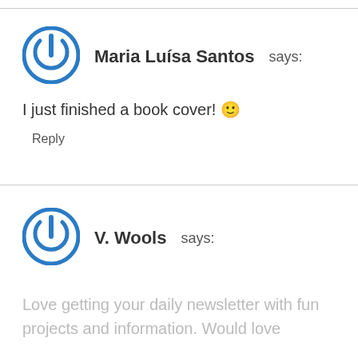Maria Luísa Santos says:
I just finished a book cover! 🙂
Reply
V. Wools says:
Love getting your daily newsletter with fun projects and information. Would love